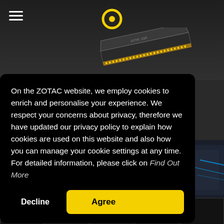[Figure (screenshot): ZOTAC website header with dark background, hamburger menu icon top-left, yellow ZOTAC logo circle top-center, and a GPU/SSD product image in the upper area]
On the ZOTAC website, we employ cookies to enrich and personalise your experience. We respect your concerns about privacy, therefore we have updated our privacy policy to explain how cookies are used on this website and also how you can manage your cookie settings at any time. For detailed information, please click on Find Out More
Decline
Agree